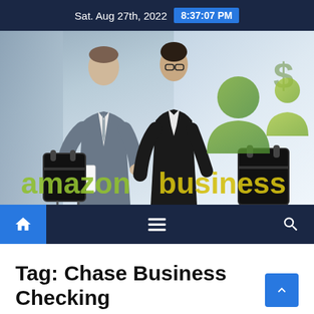Sat. Aug 27th, 2022  8:37:07 PM
[Figure (photo): Two business professionals in suits reviewing a document, with luggage, in an airport or office lobby. Overlaid with the amazonbusiness logo featuring green/yellow text and a people icon with a dollar sign.]
Navigation bar with home, menu, and search icons
Tag: Chase Business Checking